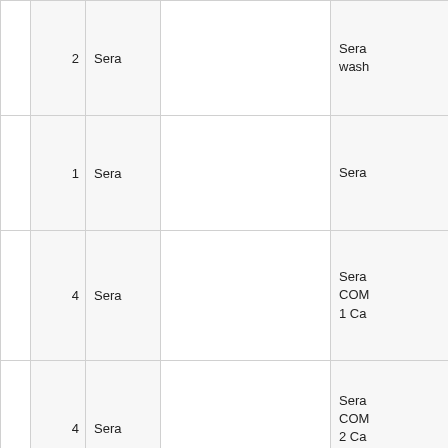|  | 2 | Sera |  | Sera wash |
|  | 1 | Sera |  | Sera |
|  | 4 | Sera |  | Sera COM 1 Ca |
|  | 4 | Sera |  | Sera COM 2 Ca Buffe |
|  |  |  |  |  |